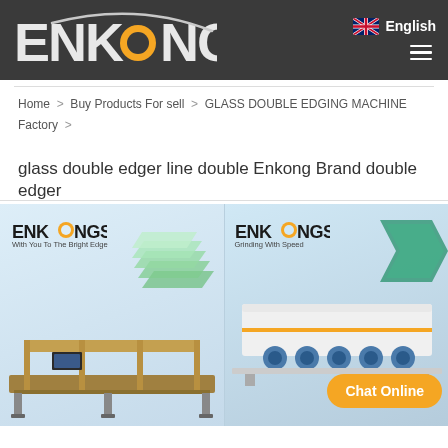[Figure (logo): Enkong company logo on dark header background with orange circular element]
English
Home > Buy Products For sell > GLASS DOUBLE EDGING MACHINE Factory >
glass double edger line double Enkong Brand double edger
[Figure (photo): Two product panels showing Enkong glass double edging machines. Left panel: ENKONGS 'With You To The Bright Edge' slogan with stacked glass sheets graphic and machine photo. Right panel: ENKONGS 'Grinding With Speed' slogan with arrow graphic and machine photo. Chat Online button overlaid on right panel.]